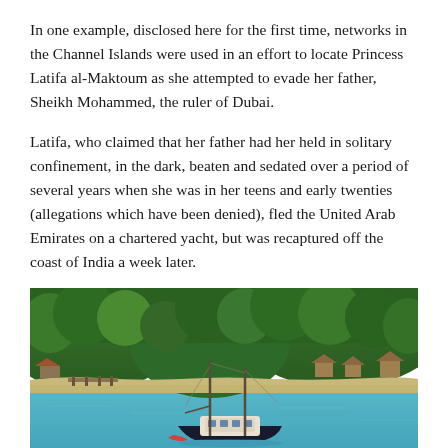In one example, disclosed here for the first time, networks in the Channel Islands were used in an effort to locate Princess Latifa al-Maktoum as she attempted to evade her father, Sheikh Mohammed, the ruler of Dubai.
Latifa, who claimed that her father had her held in solitary confinement, in the dark, beaten and sedated over a period of several years when she was in her teens and early twenties (allegations which have been denied), fled the United Arab Emirates on a chartered yacht, but was recaptured off the coast of India a week later.
[Figure (photo): Aerial photo of a sailing yacht with two masts anchored in calm turquoise water near a tropical coastline with dense green forest and a sandy beach with structures visible.]